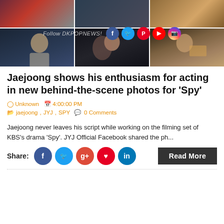[Figure (photo): Photo grid showing Jaejoong in behind-the-scenes photos from KBS drama 'Spy', two rows of three photos each showing the actor on set]
Follow DKPOPNEWS!
Jaejoong shows his enthusiasm for acting in new behind-the-scene photos for 'Spy'
Unknown  4:00:00 PM
jaejoong, JYJ, SPY  0 Comments
Jaejoong never leaves his script while working on the filming set of KBS's drama 'Spy'. JYJ Official Facebook shared the ph...
Share:  Read More